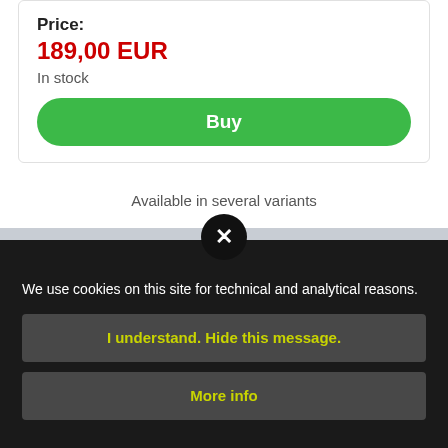Price:
189,00 EUR
In stock
Buy
Available in several variants
[Figure (screenshot): Cookie consent overlay with close button (X), cookie notice text, and two action buttons: 'I understand. Hide this message.' and 'More info']
We use cookies on this site for technical and analytical reasons.
I understand. Hide this message.
More info